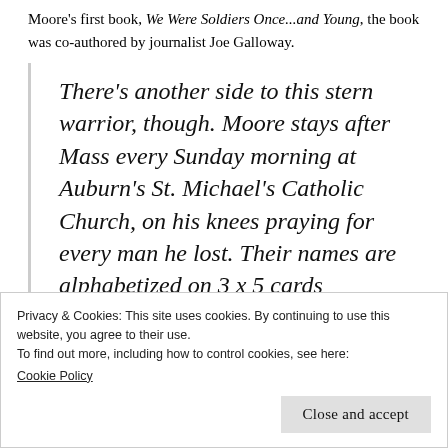Moore's first book, We Were Soldiers Once...and Young, the book was co-authored by journalist Joe Galloway.
There's another side to this stern warrior, though. Moore stays after Mass every Sunday morning at Auburn's St. Michael's Catholic Church, on his knees praying for every man he lost. Their names are alphabetized on 3 x 5 cards
Privacy & Cookies: This site uses cookies. By continuing to use this website, you agree to their use.
To find out more, including how to control cookies, see here:
Cookie Policy
Close and accept